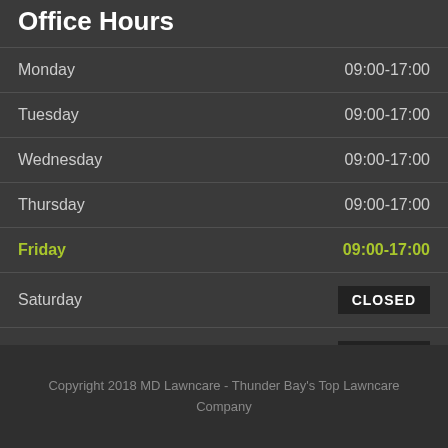Office Hours
| Day | Hours |
| --- | --- |
| Monday | 09:00-17:00 |
| Tuesday | 09:00-17:00 |
| Wednesday | 09:00-17:00 |
| Thursday | 09:00-17:00 |
| Friday | 09:00-17:00 |
| Saturday | CLOSED |
| Sunday | CLOSED |
Copyright 2018 MD Lawncare - Thunder Bay's Top Lawncare Company